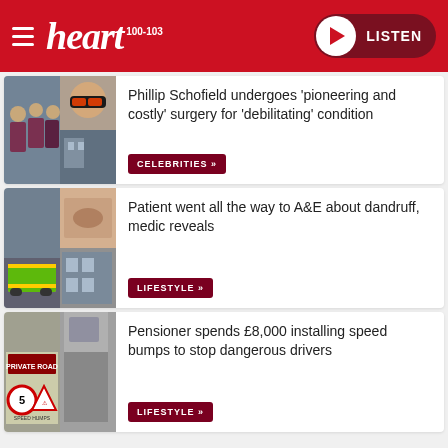heart 100-103 LISTEN
Phillip Schofield undergoes 'pioneering and costly' surgery for 'debilitating' condition
CELEBRITIES »
Patient went all the way to A&E about dandruff, medic reveals
LIFESTYLE »
Pensioner spends £8,000 installing speed bumps to stop dangerous drivers
LIFESTYLE »